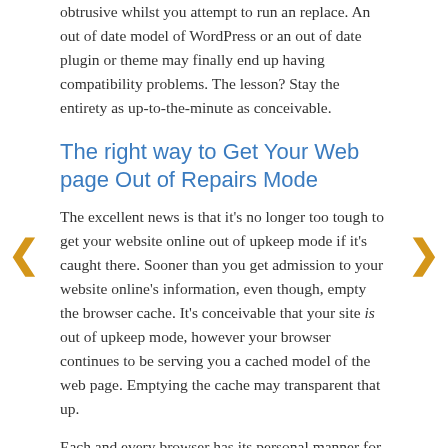obtrusive whilst you attempt to run an replace. An out of date model of WordPress or an out of date plugin or theme may finally end up having compatibility problems. The lesson? Stay the entirety as up-to-the-minute as conceivable.
The right way to Get Your Web page Out of Repairs Mode
The excellent news is that it's no longer too tough to get your website online out of upkeep mode if it's caught there. Sooner than you get admission to your website online's information, even though, empty the browser cache. It's conceivable that your site is out of upkeep mode, however your browser continues to be serving you a cached model of the web page. Emptying the cache may transparent that up.
Each and every browser has its personal manner for clearing the cache, however they're all easy. For instance, in Safari, you simply click on Expand >